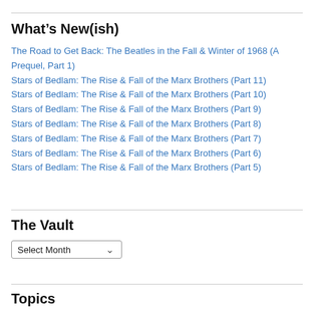What’s New(ish)
The Road to Get Back: The Beatles in the Fall & Winter of 1968 (A Prequel, Part 1)
Stars of Bedlam: The Rise & Fall of the Marx Brothers (Part 11)
Stars of Bedlam: The Rise & Fall of the Marx Brothers (Part 10)
Stars of Bedlam: The Rise & Fall of the Marx Brothers (Part 9)
Stars of Bedlam: The Rise & Fall of the Marx Brothers (Part 8)
Stars of Bedlam: The Rise & Fall of the Marx Brothers (Part 7)
Stars of Bedlam: The Rise & Fall of the Marx Brothers (Part 6)
Stars of Bedlam: The Rise & Fall of the Marx Brothers (Part 5)
The Vault
Select Month
Topics